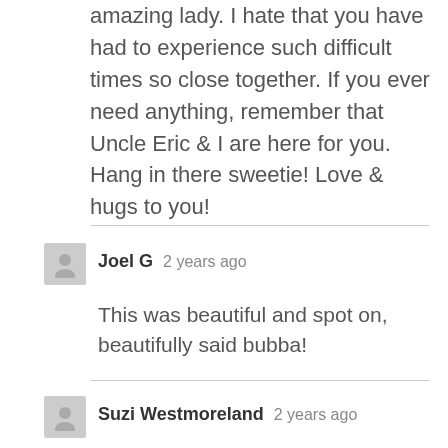amazing lady. I hate that you have had to experience such difficult times so close together. If you ever need anything, remember that Uncle Eric & I are here for you. Hang in there sweetie! Love & hugs to you!
Joel G  2 years ago
This was beautiful and spot on, beautifully said bubba!
Suzi Westmoreland  2 years ago